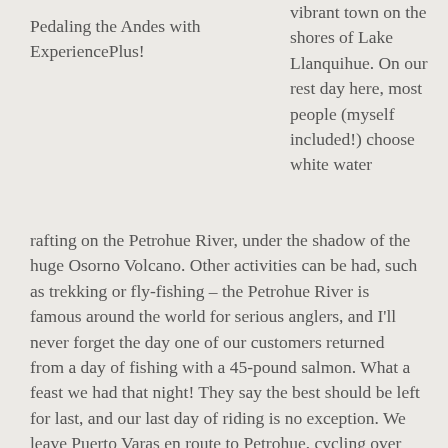Pedaling the Andes with ExperiencePlus!
vibrant town on the shores of Lake Llanquihue. On our rest day here, most people (myself included!) choose white water rafting on the Petrohue River, under the shadow of the huge Osorno Volcano. Other activities can be had, such as trekking or fly-fishing – the Petrohue River is famous around the world for serious anglers, and I'll never forget the day one of our customers returned from a day of fishing with a 45-pound salmon. What a feast we had that night! They say the best should be left for last, and our last day of riding is no exception. We leave Puerto Varas en route to Petrohue, cycling over beautiful